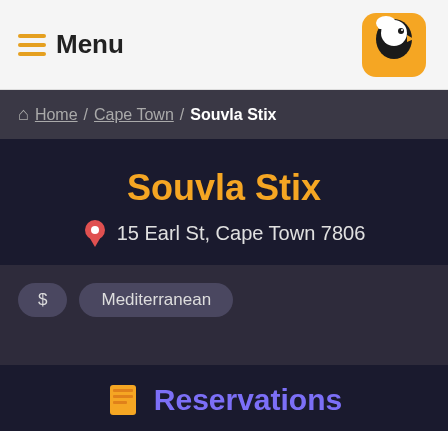Menu
Home / Cape Town / Souvla Stix
Souvla Stix
15 Earl St, Cape Town 7806
$
Mediterranean
Reservations
Souvla Stix Reservations